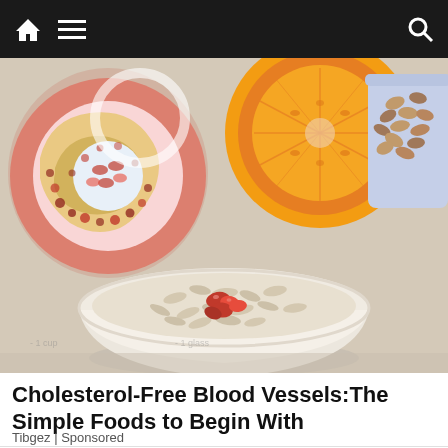Navigation bar with home, menu, and search icons
[Figure (photo): Composite health food image showing a medical illustration of cholesterol-clogged blood vessel (top left), a bowl of oatmeal with red berries (center), sliced orange (top center-right), and a cup of almonds (top right) on a light background]
Cholesterol-Free Blood Vessels:The Simple Foods to Begin With
Tibgez | Sponsored
[Figure (photo): Partial image of a balance/scale on a white background with a blue scroll-to-top arrow button in the bottom right corner]